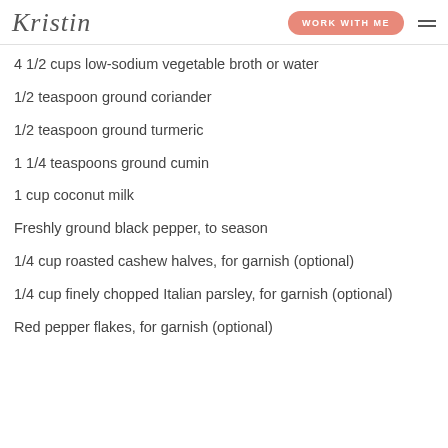Kristin | WORK WITH ME
4 1/2 cups low-sodium vegetable broth or water
1/2 teaspoon ground coriander
1/2 teaspoon ground turmeric
1 1/4 teaspoons ground cumin
1 cup coconut milk
Freshly ground black pepper, to season
1/4 cup roasted cashew halves, for garnish (optional)
1/4 cup finely chopped Italian parsley, for garnish (optional)
Red pepper flakes, for garnish (optional)